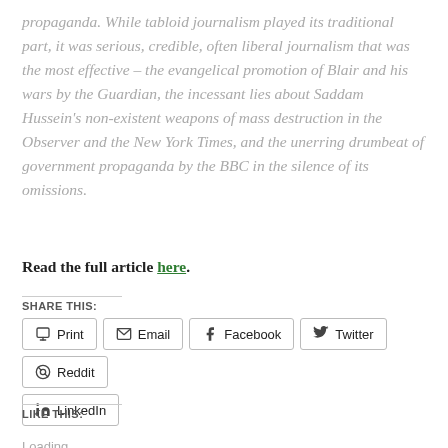propaganda. While tabloid journalism played its traditional part, it was serious, credible, often liberal journalism that was the most effective – the evangelical promotion of Blair and his wars by the Guardian, the incessant lies about Saddam Hussein's non-existent weapons of mass destruction in the Observer and the New York Times, and the unerring drumbeat of government propaganda by the BBC in the silence of its omissions.
Read the full article here.
SHARE THIS:
Print | Email | Facebook | Twitter | Reddit | LinkedIn
LIKE THIS:
Loading...